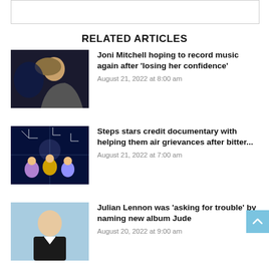[Figure (other): Top banner placeholder image]
RELATED ARTICLES
[Figure (photo): Photo of Joni Mitchell looking upward in profile, dark background]
Joni Mitchell hoping to record music again after ‘losing her confidence’
August 21, 2022 at 8:00 am
[Figure (photo): Photo of Steps performing on stage with sparkly costumes and light effects]
Steps stars credit documentary with helping them air grievances after bitter...
August 21, 2022 at 7:00 am
[Figure (photo): Photo of Julian Lennon in black suit against light blue background]
Julian Lennon was ‘asking for trouble’ by naming new album Jude
August 20, 2022 at 9:00 am